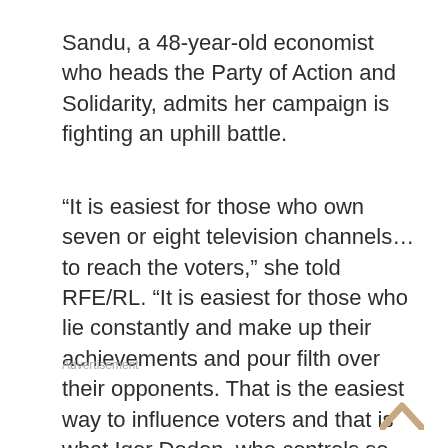Sandu, a 48-year-old economist who heads the Party of Action and Solidarity, admits her campaign is fighting an uphill battle.
“It is easiest for those who own seven or eight television channels…to reach the voters,” she told RFE/RL. “It is easiest for those who lie constantly and make up their achievements and pour filth over their opponents. That is the easiest way to influence voters and that is what Igor Dodon, who controls so many television channels in Moldova, is doing.”
Advertisement